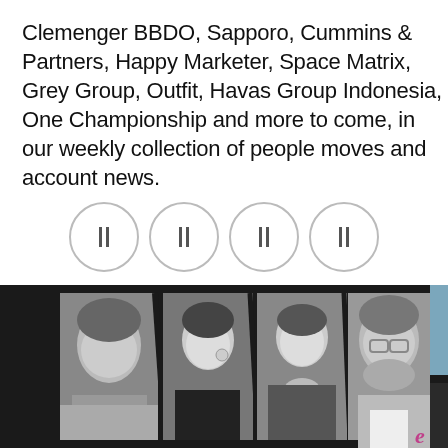Clemenger BBDO, Sapporo, Cummins & Partners, Happy Marketer, Space Matrix, Grey Group, Outfit, Havas Group Indonesia, One Championship and more to come, in our weekly collection of people moves and account news.
[Figure (other): Four social media icon buttons arranged in a row, each in a circular outline]
[Figure (photo): Black and white photo strip showing four people: a man on the left, two women in the middle, and a man with glasses on the right, arranged in overlapping vertical panels on a dark background]